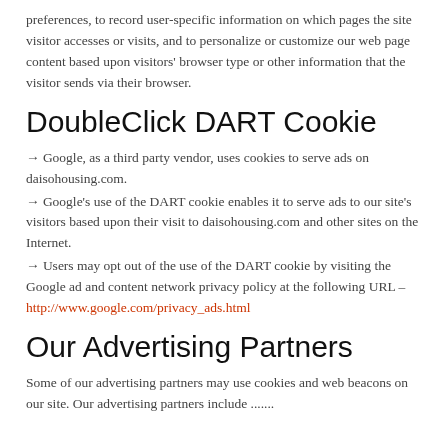preferences, to record user-specific information on which pages the site visitor accesses or visits, and to personalize or customize our web page content based upon visitors' browser type or other information that the visitor sends via their browser.
DoubleClick DART Cookie
→ Google, as a third party vendor, uses cookies to serve ads on daisohousing.com.
→ Google's use of the DART cookie enables it to serve ads to our site's visitors based upon their visit to daisohousing.com and other sites on the Internet.
→ Users may opt out of the use of the DART cookie by visiting the Google ad and content network privacy policy at the following URL – http://www.google.com/privacy_ads.html
Our Advertising Partners
Some of our advertising partners may use cookies and web beacons on our site. Our advertising partners include .......